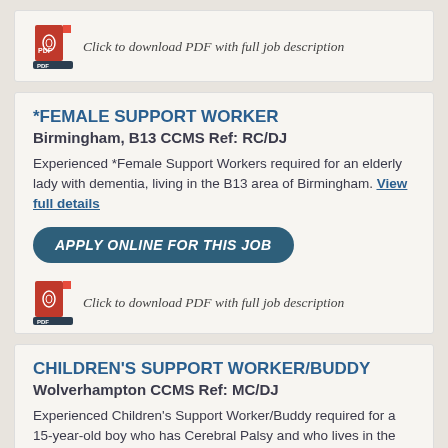[Figure (other): PDF icon with italic text 'Click to download PDF with full job description']
*FEMALE SUPPORT WORKER
Birmingham, B13 CCMS Ref: RC/DJ
Experienced *Female Support Workers required for an elderly lady with dementia, living in the B13 area of Birmingham. View full details
APPLY ONLINE FOR THIS JOB
[Figure (other): PDF icon with italic text 'Click to download PDF with full job description']
CHILDREN'S SUPPORT WORKER/BUDDY
Wolverhampton CCMS Ref: MC/DJ
Experienced Children's Support Worker/Buddy required for a 15-year-old boy who has Cerebral Palsy and who lives in the family home in the…